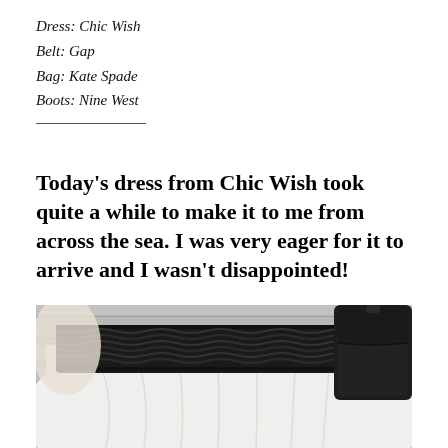Dress: Chic Wish
Belt: Gap
Bag: Kate Spade
Boots: Nine West
Today’s dress from Chic Wish took quite a while to make it to me from across the sea. I was very eager for it to arrive and I wasn’t disappointed!
[Figure (photo): Close-up photo of a person wearing a white dress with a wide black braided/woven belt cinched at the waist, and what appears to be a black leather bag strap visible at the right side. Gray wooden siding visible in background.]